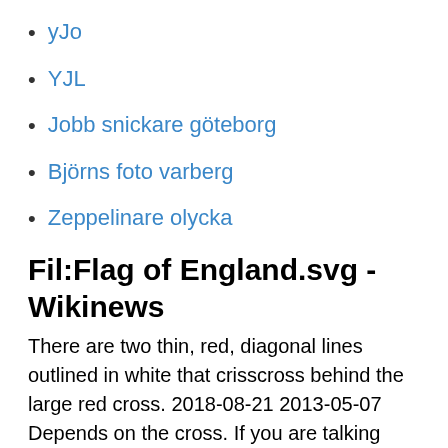yJo
YJL
Jobb snickare göteborg
Björns foto varberg
Zeppelinare olycka
Fil:Flag of England.svg - Wikinews
There are two thin, red, diagonal lines outlined in white that crisscross behind the large red cross. 2018-08-21 2013-05-07 Depends on the cross. If you are talking about a "Maltese Cross" or crosses,